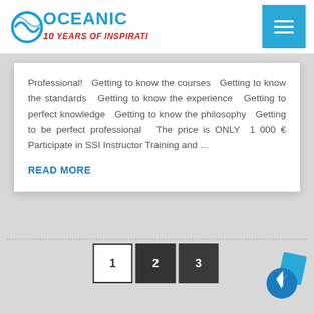OCEANIC 10 YEARS OF INSPIRATION
Professional!   Getting to know the courses   Getting to know the standards   Getting to know the experience   Getting to perfect knowledge   Getting to know the philosophy   Getting to be perfect professional   The price is ONLY  1 000 € Participate in SSI Instructor Training and ...
READ MORE
[Figure (other): Pagination buttons showing page 1 (white/outlined), page 2 (dark), and page 3 (dark)]
[Figure (other): Facebook Messenger floating button icon, blue with white lightning bolt]